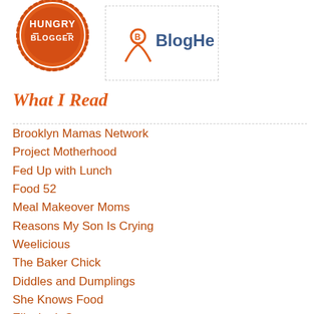[Figure (logo): Hungry Blogger badge - orange circular seal with the text HUNGRY BLOGGER]
[Figure (logo): BlogHer logo in a dashed border rectangle - shows a person icon and BlogHer text in blue/orange]
What I Read
Brooklyn Mamas Network
Project Motherhood
Fed Up with Lunch
Food 52
Meal Makeover Moms
Reasons My Son Is Crying
Weelicious
The Baker Chick
Diddles and Dumplings
She Knows Food
Elizabeth Street
Nourishing Vegan Sweet Potato Soul
Well Rounded NY
Healthy Latin Eating